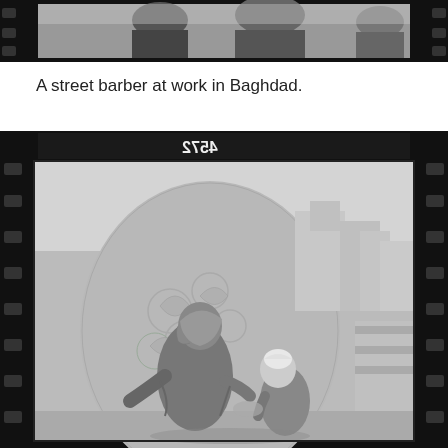[Figure (photo): Black and white film negative strip showing a partial view of people, top portion of page, cropped at top edge]
A street barber at work in Baghdad.
[Figure (photo): Black and white photograph on film negative strip showing an older man wearing a traditional headscarf (keffiyeh) acting as a street barber, working on a young boy wearing a white cap, set against a backdrop of a large ornate dome with geometric patterns and buildings in Baghdad. Film frame number 4572 visible at top of strip.]